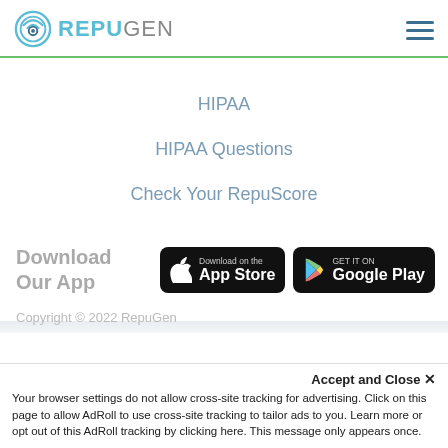REPUGEN (logo)
HIPAA
HIPAA Questions
Check Your RepuScore
Download Our App
[Figure (other): Download on the App Store button (black, Apple logo)]
[Figure (other): GET IT ON Google Play button (black, Play icon)]
Copyright © 2022 RepuGen
Accept and Close ✕
Your browser settings do not allow cross-site tracking for advertising. Click on this page to allow AdRoll to use cross-site tracking to tailor ads to you. Learn more or opt out of this AdRoll tracking by clicking here. This message only appears once.